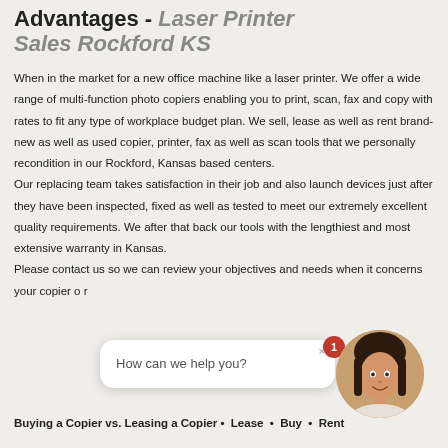Advantages - Laser Printer Sales Rockford KS
When in the market for a new office machine like a laser printer. We offer a wide range of multi-function photo copiers enabling you to print, scan, fax and copy with rates to fit any type of workplace budget plan. We sell, lease as well as rent brand-new as well as used copier, printer, fax as well as scan tools that we personally recondition in our Rockford, Kansas based centers.
Our replacing team takes satisfaction in their job and also launch devices just after they have been inspected, fixed as well as tested to meet our extremely excellent quality requirements. We after that back our tools with the lengthiest and most extensive warranty in Kansas.
Please contact us so we can review your objectives and needs when it concerns your copier or printer or
[Figure (other): Chat widget overlay with message 'How can we help you?' and a female avatar photo with badge showing '1', and a close button 'x']
Buying a Copier vs. Leasing a Copier • Lease • Buy • Rent